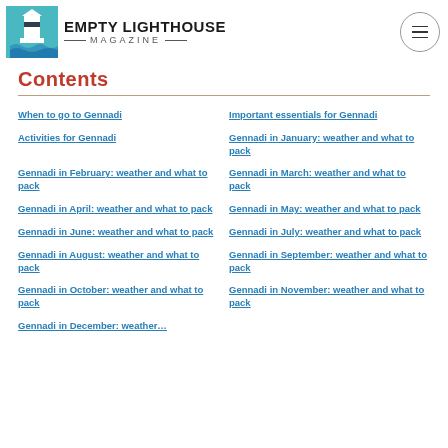Empty Lighthouse Magazine
Contents
When to go to Gennadi
Important essentials for Gennadi
Activities for Gennadi
Gennadi in January: weather and what to pack
Gennadi in February: weather and what to pack
Gennadi in March: weather and what to pack
Gennadi in April: weather and what to pack
Gennadi in May: weather and what to pack
Gennadi in June: weather and what to pack
Gennadi in July: weather and what to pack
Gennadi in August: weather and what to pack
Gennadi in September: weather and what to pack
Gennadi in October: weather and what to pack
Gennadi in November: weather and what to pack
Gennadi in December: weather…